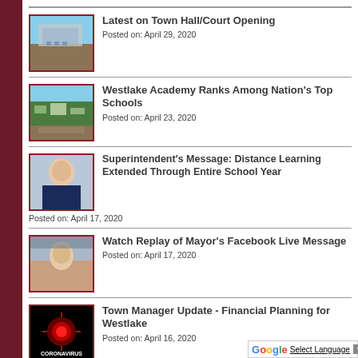Latest on Town Hall/Court Opening
Posted on: April 29, 2020
Westlake Academy Ranks Among Nation's Top Schools
Posted on: April 23, 2020
Superintendent's Message: Distance Learning Extended Through Entire School Year
Posted on: April 17, 2020
Watch Replay of Mayor's Facebook Live Message
Posted on: April 17, 2020
Town Manager Update - Financial Planning for Westlake
Posted on: April 16, 2020